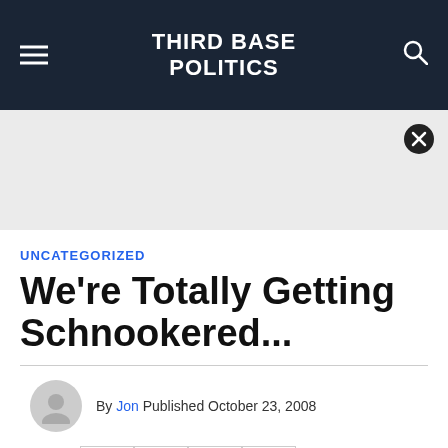THIRD BASE POLITICS
[Figure (other): Advertisement placeholder area with a close (X) button in the top right]
UNCATEGORIZED
We're Totally Getting Schnookered...
By Jon  Published  October 23, 2008
[Figure (other): Social share buttons row: Facebook, Twitter, Flipboard, Email]